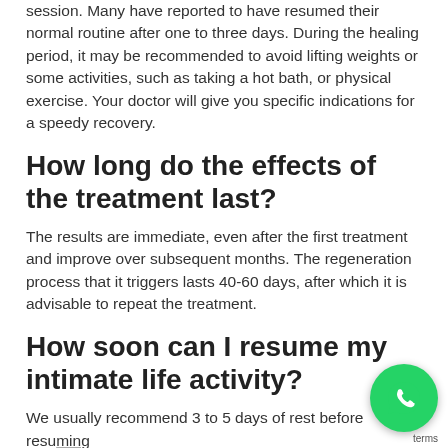session. Many have reported to have resumed their normal routine after one to three days. During the healing period, it may be recommended to avoid lifting weights or some activities, such as taking a hot bath, or physical exercise. Your doctor will give you specific indications for a speedy recovery.
How long do the effects of the treatment last?
The results are immediate, even after the first treatment and improve over subsequent months. The regeneration process that it triggers lasts 40-60 days, after which it is advisable to repeat the treatment.
How soon can I resume my intimate life activity?
We usually recommend 3 to 5 days of rest before resuming
[Figure (illustration): WhatsApp contact button - green circle with white phone handset icon, with 'terms' text label to the left]